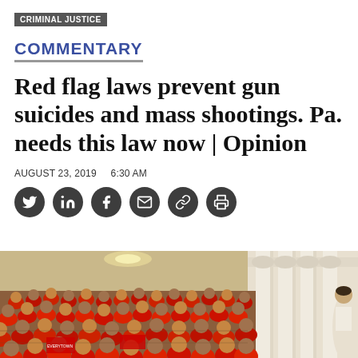CRIMINAL JUSTICE
COMMENTARY
Red flag laws prevent gun suicides and mass shootings. Pa. needs this law now | Opinion
AUGUST 23, 2019   6:30 AM
[Figure (other): Social sharing icons: Twitter, LinkedIn, Facebook, Email, Link, Print]
[Figure (photo): Crowd of people in red shirts gathered inside a grand government building with ornate white columns and architecture, with a speaker visible on the right side]